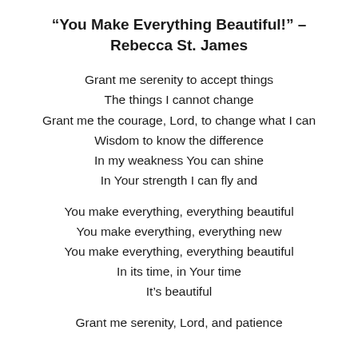“You Make Everything Beautiful!” – Rebecca St. James
Grant me serenity to accept things
The things I cannot change
Grant me the courage, Lord, to change what I can
Wisdom to know the difference
In my weakness You can shine
In Your strength I can fly and
You make everything, everything beautiful
You make everything, everything new
You make everything, everything beautiful
In its time, in Your time
It’s beautiful
Grant me serenity, Lord, and patience